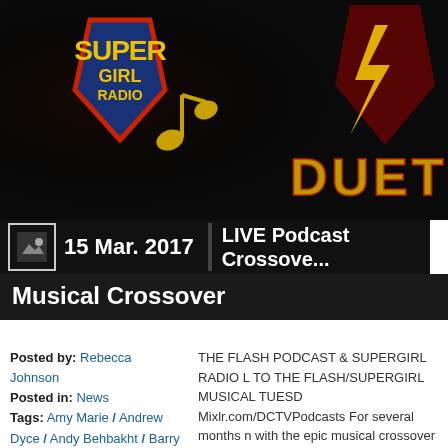[Figure (photo): Hero image showing Supergirl Radio logo and DUET text with dark background, music notes and lightning bolt graphics]
15 Mar. 2017
LIVE Podcast Crossover Musical Crossover
Posted by: Rebecca Johnson
Posted in: News
Tags: Amy Marie / Andrew Dyce / Andy Behbakht / Barry Allen / Brittany Rivera / Carly Lane / Kara Zor-El / Keith Chow / Morgan Glennon / Music Meister /
THE FLASH PODCAST & SUPERGIRL RADIO LIVE TO THE FLASH/SUPERGIRL MUSICAL TUESDAY Mixlr.com/DCTVPodcasts For several months no with the epic musical crossover between The Fla those shows, The Flash Podcast and Supergirl R crossover […]
Read more